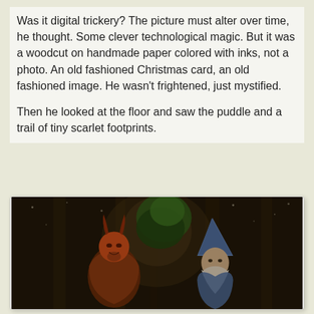Was it digital trickery? The picture must alter over time, he thought. Some clever technological magic. But it was a woodcut on handmade paper colored with inks, not a photo. An old fashioned Christmas card, an old fashioned image. He wasn't frightened, just mystified.

Then he looked at the floor and saw the puddle and a trail of tiny scarlet footprints.
[Figure (illustration): A dark, aged painting or woodcut-style illustration showing a demonic or devilish figure with horns (red/orange colored) on the left, and an elderly bearded figure wearing a blue pointed hat on the right, set against a dark forest background with trees. The image has an old, weathered appearance.]